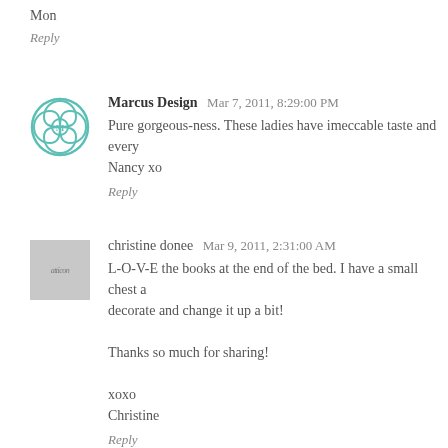Mon
Reply
Marcus Design  Mar 7, 2011, 8:29:00 PM
Pure gorgeous-ness. These ladies have imeccable taste and every... Nancy xo
Reply
christine donee  Mar 9, 2011, 2:31:00 AM
L-O-V-E the books at the end of the bed. I have a small chest a... decorate and change it up a bit!

Thanks so much for sharing!

xoxo
Christine
Reply